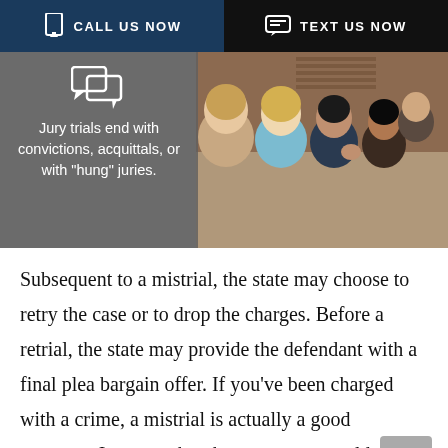CALL US NOW   TEXT US NOW
[Figure (photo): A group of jurors seated in a courtroom, with a gray overlay on the left side containing the text 'Jury trials end with convictions, acquittals, or with "hung" juries.' and a speech bubble icon.]
Subsequent to a mistrial, the state may choose to retry the case or to drop the charges. Before a retrial, the state may provide the defendant with a final plea bargain offer. If you've been charged with a crime, a mistrial is actually a good outcome. It means that the prosecutor could not